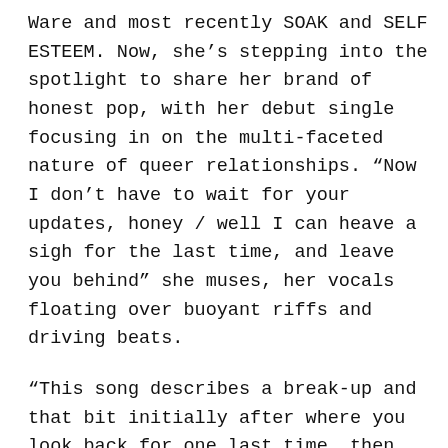Ware and most recently SOAK and SELF ESTEEM. Now, she's stepping into the spotlight to share her brand of honest pop, with her debut single focusing in on the multi-faceted nature of queer relationships. “Now I don’t have to wait for your updates, honey / well I can heave a sigh for the last time, and leave you behind” she muses, her vocals floating over buoyant riffs and driving beats.
“This song describes a break-up and that bit initially after where you look back for one last time, then take that first step forward as a person on your own in the world,” Gaplin explains about ‘Singsong’. “You feel like